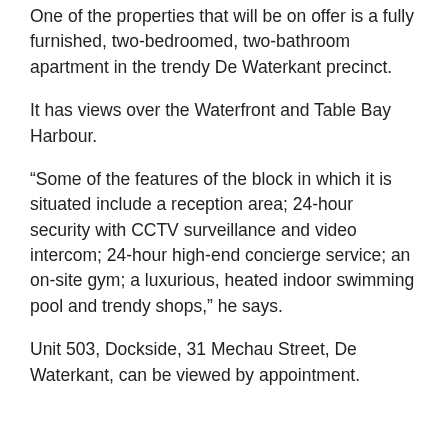One of the properties that will be on offer is a fully furnished, two-bedroomed, two-bathroom apartment in the trendy De Waterkant precinct.
It has views over the Waterfront and Table Bay Harbour.
“Some of the features of the block in which it is situated include a reception area; 24-hour security with CCTV surveillance and video intercom; 24-hour high-end concierge service; an on-site gym; a luxurious, heated indoor swimming pool and trendy shops,” he says.
Unit 503, Dockside, 31 Mechau Street, De Waterkant, can be viewed by appointment.